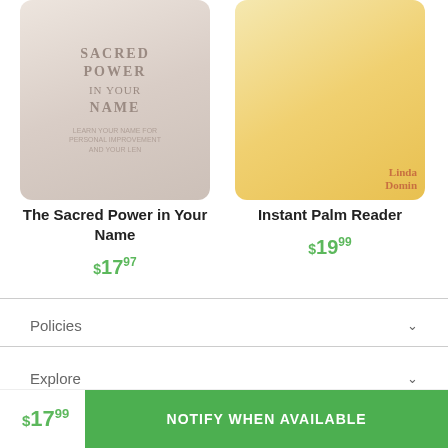[Figure (illustration): Book cover for 'The Sacred Power in Your Name' - soft pastel gradient background with stylized text]
[Figure (illustration): Book cover for 'Instant Palm Reader' - yellow/orange background with illustrated hand showing palm reading lines, author name Linda Domin]
The Sacred Power in Your Name
$17.97
Instant Palm Reader
$19.99
Policies
Explore
Quicklinks
$17.99
NOTIFY WHEN AVAILABLE